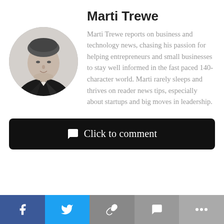[Figure (photo): Circular black and white headshot of Marti Trewe, a man in a dark jacket with light shirt, professional portrait]
Marti Trewe
Marti Trewe reports on business and technology news, chasing his passion for helping entrepreneurs and small businesses to stay well informed in the fast paced 140-character world. Marti rarely sleeps and thrives on reader news tips, especially about startups and big moves in leadership.
💬 Click to comment
[Figure (infographic): Social share bar with Facebook, Twitter, link, comment, and more buttons]